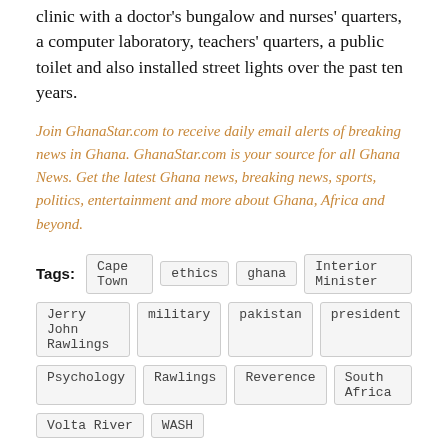clinic with a doctor's bungalow and nurses' quarters, a computer laboratory, teachers' quarters, a public toilet and also installed street lights over the past ten years.
Join GhanaStar.com to receive daily email alerts of breaking news in Ghana. GhanaStar.com is your source for all Ghana News. Get the latest Ghana news, breaking news, sports, politics, entertainment and more about Ghana, Africa and beyond.
Tags: Cape Town  ethics  ghana  Interior Minister  Jerry John Rawlings  military  pakistan  president  Psychology  Rawlings  Reverence  South Africa  Volta River  WASH
RELATED NEWS